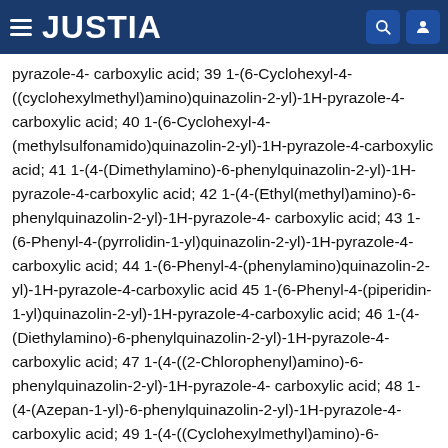JUSTIA
pyrazole-4- carboxylic acid; 39 1-(6-Cyclohexyl-4-((cyclohexylmethyl)amino)quinazolin-2-yl)-1H-pyrazole-4-carboxylic acid; 40 1-(6-Cyclohexyl-4-(methylsulfonamido)quinazolin-2-yl)-1H-pyrazole-4-carboxylic acid; 41 1-(4-(Dimethylamino)-6-phenylquinazolin-2-yl)-1H-pyrazole-4-carboxylic acid; 42 1-(4-(Ethyl(methyl)amino)-6-phenylquinazolin-2-yl)-1H-pyrazole-4- carboxylic acid; 43 1-(6-Phenyl-4-(pyrrolidin-1-yl)quinazolin-2-yl)-1H-pyrazole-4-carboxylic acid; 44 1-(6-Phenyl-4-(phenylamino)quinazolin-2-yl)-1H-pyrazole-4-carboxylic acid 45 1-(6-Phenyl-4-(piperidin-1-yl)quinazolin-2-yl)-1H-pyrazole-4-carboxylic acid; 46 1-(4-(Diethylamino)-6-phenylquinazolin-2-yl)-1H-pyrazole-4-carboxylic acid; 47 1-(4-((2-Chlorophenyl)amino)-6-phenylquinazolin-2-yl)-1H-pyrazole-4- carboxylic acid; 48 1-(4-(Azepan-1-yl)-6-phenylquinazolin-2-yl)-1H-pyrazole-4-carboxylic acid; 49 1-(4-((Cyclohexylmethyl)amino)-6-